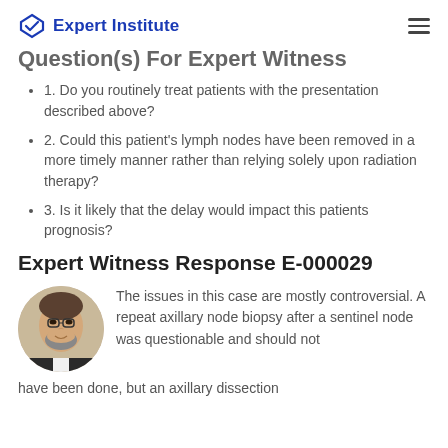Expert Institute
Question(s) For Expert Witness
1. Do you routinely treat patients with the presentation described above?
2. Could this patient's lymph nodes have been removed in a more timely manner rather than relying solely upon radiation therapy?
3. Is it likely that the delay would impact this patients prognosis?
Expert Witness Response E-000029
[Figure (photo): Circular portrait photo of a middle-aged man with glasses and a beard, wearing a white shirt and dark jacket.]
The issues in this case are mostly controversial. A repeat axillary node biopsy after a sentinel node was questionable and should not have been done, but an axillary dissection